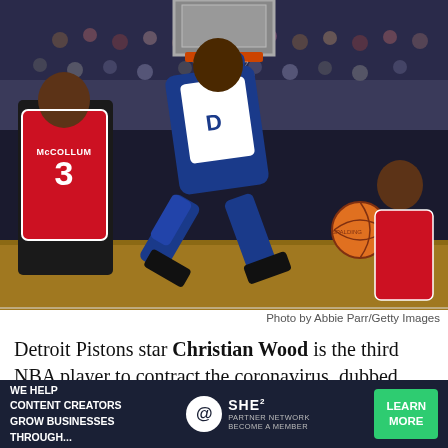[Figure (photo): Detroit Pistons player (Christian Wood) dunking a basketball while hanging on the rim, with Portland Trail Blazers player McCollum (#3) and another player visible. Basketball arena with crowd in background.]
Photo by Abbie Parr/Getty Images
Detroit Pistons star Christian Wood is the third NBA player to contract the coronavirus, dubbed Covid-19.
The Pistons released a statement on Saturday, without identifying Wood as the player on the team who tested
[Figure (infographic): Advertisement bar: WE HELP CONTENT CREATORS GROW BUSINESSES THROUGH... | SHE PARTNER NETWORK BECOME A MEMBER | LEARN MORE button]